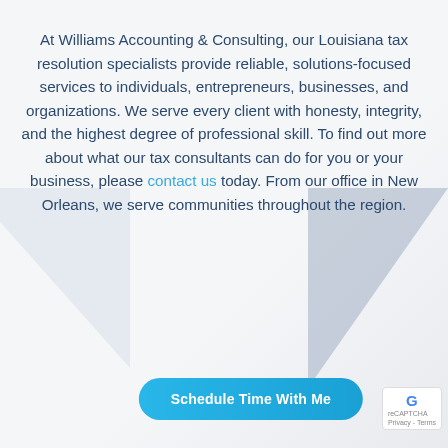At Williams Accounting & Consulting, our Louisiana tax resolution specialists provide reliable, solutions-focused services to individuals, entrepreneurs, businesses, and organizations. We serve every client with honesty, integrity, and the highest degree of professional skill. To find out more about what our tax consultants can do for you or your business, please contact us today. From our office in New Orleans, we serve communities throughout the region.
Schedule Time With Me